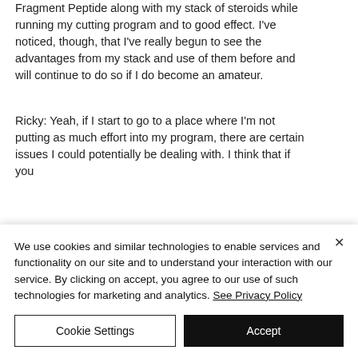Fragment Peptide along with my stack of steroids while running my cutting program and to good effect. I've noticed, though, that I've really begun to see the advantages from my stack and use of them before and will continue to do so if I do become an amateur.
Ricky: Yeah, if I start to go to a place where I'm not putting as much effort into my program, there are certain issues I could potentially be dealing with. I think that if you
We use cookies and similar technologies to enable services and functionality on our site and to understand your interaction with our service. By clicking on accept, you agree to our use of such technologies for marketing and analytics. See Privacy Policy